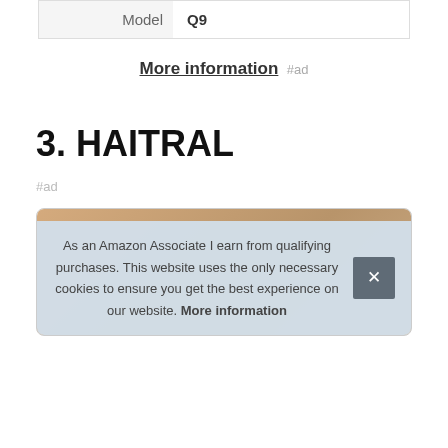| Model | Q9 |
More information #ad
3. HAITRAL
#ad
As an Amazon Associate I earn from qualifying purchases. This website uses the only necessary cookies to ensure you get the best experience on our website. More information